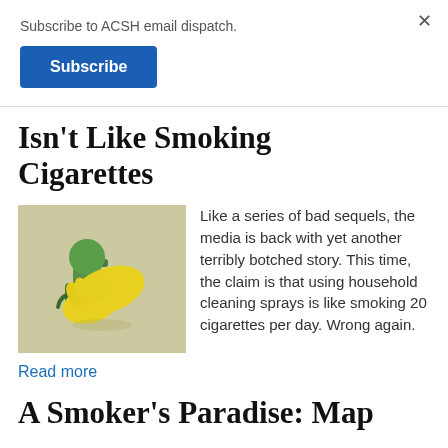Subscribe to ACSH email dispatch.
Subscribe
Isn't Like Smoking Cigarettes
[Figure (photo): A yellow-gloved hand holding a green spray bottle with a round green head, photographed on a beige surface.]
Like a series of bad sequels, the media is back with yet another terribly botched story. This time, the claim is that using household cleaning sprays is like smoking 20 cigarettes per day. Wrong again.
Read more
A Smoker's Paradise: Map